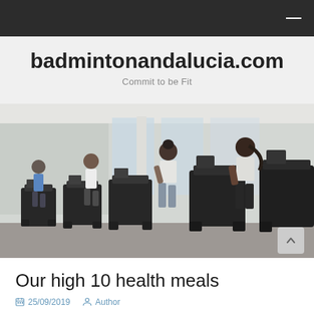badmintonandalucia.com — Commit to be Fit
[Figure (photo): People running on treadmills in a modern gym with large windows and mirrors]
Our high 10 health meals
25/09/2019   Author